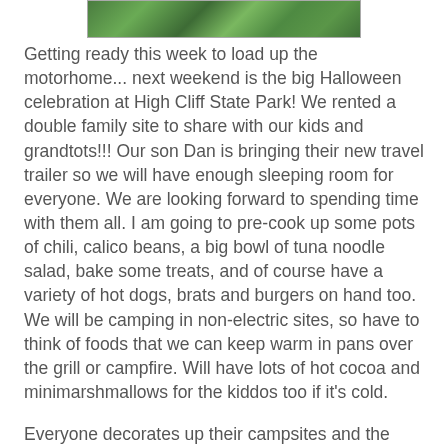[Figure (photo): Partial view of a green grassy outdoor area, cropped at top of page]
Getting ready this week to load up the motorhome... next weekend is the big Halloween celebration at High Cliff State Park!  We rented a double family site to share with our kids and grandtots!!!   Our son Dan is bringing their new travel trailer so we will have enough sleeping room for everyone.  We are looking forward to spending time with them all.  I am going to pre-cook up some pots of chili, calico beans, a big bowl of tuna noodle salad, bake some treats, and of course have a variety of hot dogs, brats and burgers on hand too.  We will be camping in non-electric sites, so have to think of foods that we can keep warm in pans over the grill or campfire.  Will have lots of hot cocoa and minimarshmallows for the kiddos too if it's cold.
Everyone decorates up their campsites and the kiddos do trickortreating from site to site.  Here is a blog post from last year's event: Halloween at High Cliff 2013  It's a special time for me because Halloween is also my birthday! It's a great